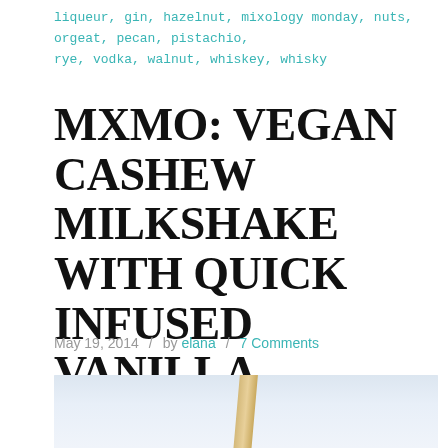liqueur, gin, hazelnut, mixology monday, nuts, orgeat, pecan, pistachio, rye, vodka, walnut, whiskey, whisky
MXMO: VEGAN CASHEW MILKSHAKE WITH QUICK INFUSED VANILLA BOURBON
May 19, 2014 / by elana / 7 Comments
[Figure (photo): A light blue-grey background with a milkshake straw visible at the bottom center of the frame]